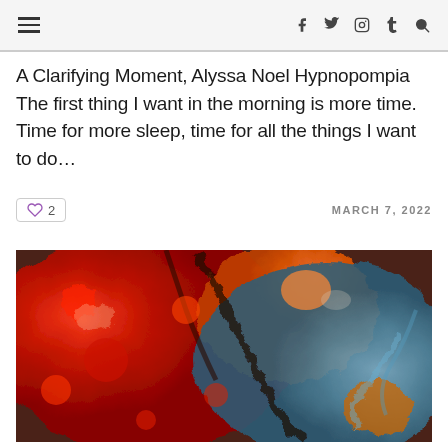Navigation header with hamburger menu and social icons: f (Facebook), Twitter, Instagram, Tumblr, Search
A Clarifying Moment, Alyssa Noel Hypnopompia The first thing I want in the morning is more time. Time for more sleep, time for all the things I want to do…
2  MARCH 7, 2022
[Figure (photo): Abstract fluid art painting with swirling patterns of red, orange, blue, and brown colors resembling a lava or marble effect]